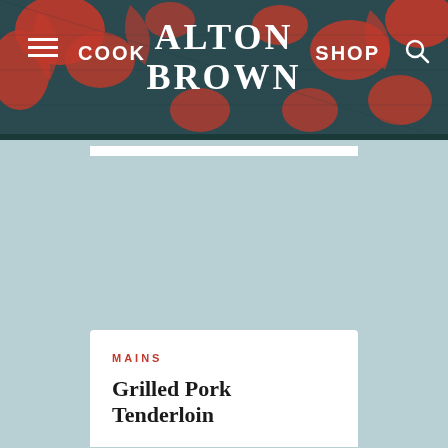COOK  ALTON BROWN  SHOP
MAINS
Grilled Pork Tenderloin